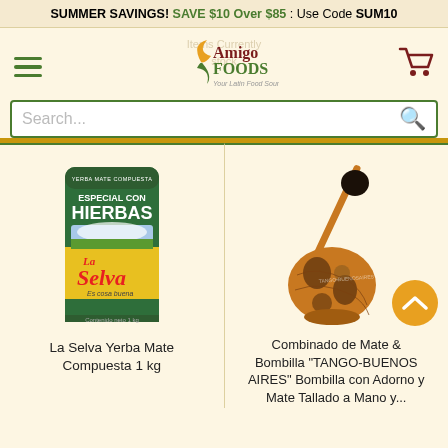SUMMER SAVINGS! SAVE $10 Over $85 : Use Code SUM10
[Figure (logo): Amigo Foods - Your Latin Food Source logo with leaf/spoon graphic]
Search...
[Figure (photo): La Selva Yerba Mate Compuesta Especial con Hierbas 1kg package - green bag with yellow text and La Selva branding]
La Selva Yerba Mate Compuesta 1 kg
[Figure (photo): Combinado de Mate & Bombilla TANGO-BUENOS AIRES - ornate carved mate gourd with bombilla straw]
Combinado de Mate & Bombilla "TANGO-BUENOS AIRES" Bombilla con Adorno y Mate Tallado a Mano y...